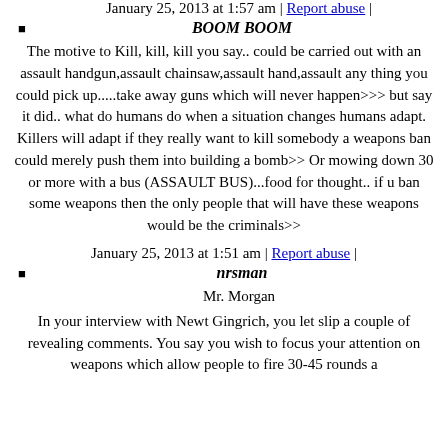BOOM BOOM
The motive to Kill, kill, kill you say.. could be carried out with an assault handgun,assault chainsaw,assault hand,assault any thing you could pick up.....take away guns which will never happen>>> but say it did.. what do humans do when a situation changes humans adapt. Killers will adapt if they really want to kill somebody a weapons ban could merely push them into building a bomb>> Or mowing down 30 or more with a bus (ASSAULT BUS)...food for thought.. if u ban some weapons then the only people that will have these weapons would be the criminals>>
January 25, 2013 at 1:51 am | Report abuse |
nrsman
Mr. Morgan
In your interview with Newt Gingrich, you let slip a couple of revealing comments. You say you wish to focus your attention on weapons which allow people to fire 30-45 rounds a